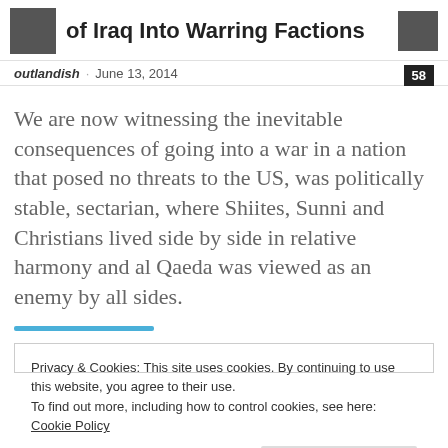of Iraq Into Warring Factions
outlandish · June 13, 2014  58
We are now witnessing the inevitable consequences of going into a war in a nation that posed no threats to the US, was politically stable, sectarian, where Shiites, Sunni and Christians lived side by side in relative harmony and al Qaeda was viewed as an enemy by all sides.
Privacy & Cookies: This site uses cookies. By continuing to use this website, you agree to their use.
To find out more, including how to control cookies, see here: Cookie Policy